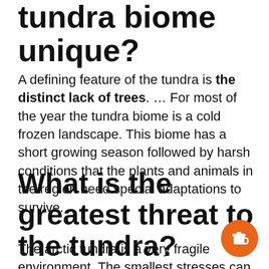tundra biome unique?
A defining feature of the tundra is the distinct lack of trees. … For most of the year the tundra biome is a cold frozen landscape. This biome has a short growing season followed by harsh conditions that the plants and animals in the region need special adaptations to survive.
What is the greatest threat to the tundra?
The arctic tundra is a very fragile environment. The smallest stresses can
[Figure (illustration): Orange circular button with a coffee cup icon]